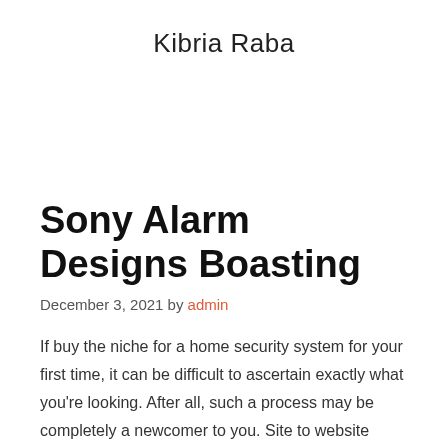Kibria Raba
Sony Alarm Designs Boasting
December 3, 2021 by admin
If buy the niche for a home security system for your first time, it can be difficult to ascertain exactly what you're looking. After all, such a process may be completely a newcomer to you. Site to website thing demand to realize